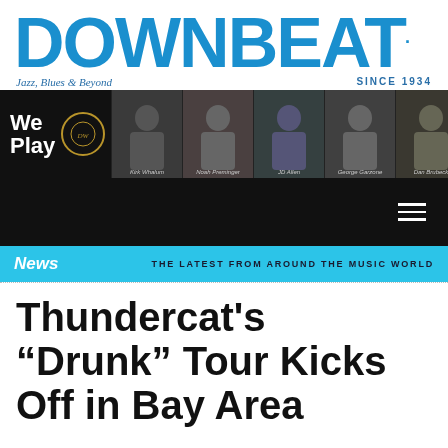DOWNBEAT — Jazz, Blues & Beyond — SINCE 1934
[Figure (photo): DownBeat magazine advertisement banner: 'We Play' on black background with photos of jazz musicians: Kirk Whalam, Noah Preminger, JD Allen, George Garzone, Dan Brubeck]
[Figure (screenshot): Black navigation bar with white hamburger menu icon (three horizontal lines) on the right side]
News — THE LATEST FROM AROUND THE MUSIC WORLD
Thundercat's “Drunk” Tour Kicks Off in Bay Area